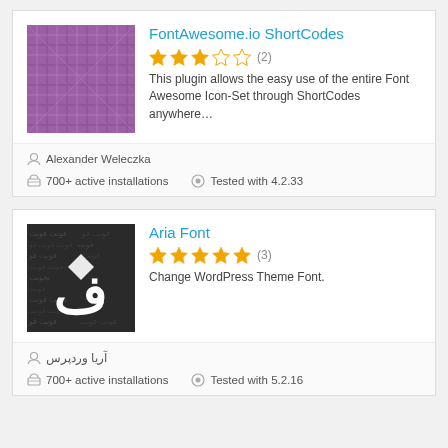FontAwesome.io ShortCodes
This plugin allows the easy use of the entire Font Awesome Icon-Set through ShortCodes anywhere…
Alexander Weleczka
700+ active installations
Tested with 4.2.33
Aria Font
Change WordPress Theme Font.
آریا وردپرس
700+ active installations
Tested with 5.2.16